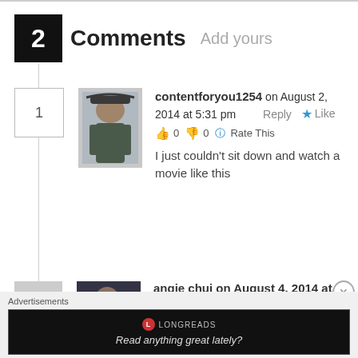2 Comments Add yours
contentforyou1254 on August 2, 2014 at 5:31 pm   Reply  Like
👍 0 👎 0 ℹ Rate This
I just couldn't sit down and watch a movie like this
angie chui on August 4, 2014 at
Advertisements
LONGREADS
Read anything great lately?